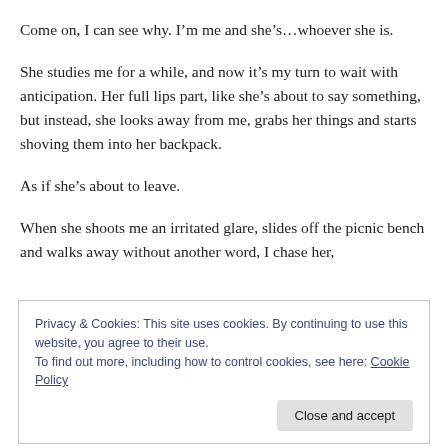Come on, I can see why. I'm me and she's…whoever she is.
She studies me for a while, and now it's my turn to wait with anticipation. Her full lips part, like she's about to say something, but instead, she looks away from me, grabs her things and starts shoving them into her backpack.
As if she's about to leave.
When she shoots me an irritated glare, slides off the picnic bench and walks away without another word, I chase her,
Privacy & Cookies: This site uses cookies. By continuing to use this website, you agree to their use.
To find out more, including how to control cookies, see here: Cookie Policy